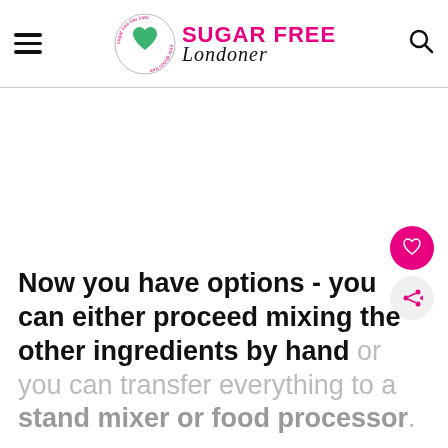SUGAR FREE Londoner
Now you have options - you can either proceed mixing the other ingredients by hand or you can transfer everything to a stand mixer or food processor.